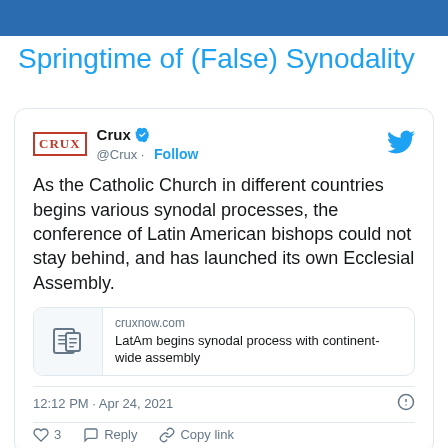Springtime of (False) Synodality
[Figure (screenshot): Embedded tweet from @Crux account showing text: 'As the Catholic Church in different countries begins various synodal processes, the conference of Latin American bishops could not stay behind, and has launched its own Ecclesial Assembly.' with a link preview to cruxnow.com article 'LatAm begins synodal process with continent-wide assembly', timestamp 12:12 PM · Apr 24, 2021, with 3 likes and Reply / Copy link actions.]